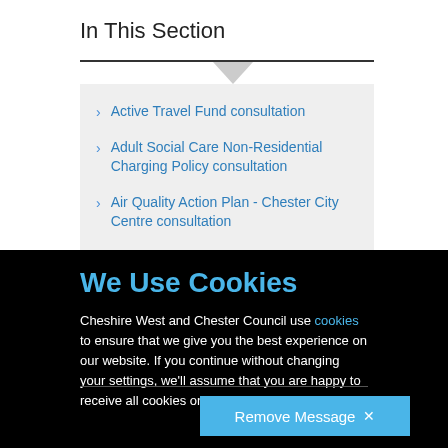In This Section
Active Travel Fund consultation
Adult Social Care Non-Residential Charging Policy consultation
Air Quality Action Plan - Chester City Centre consultation
We Use Cookies
Cheshire West and Chester Council use cookies to ensure that we give you the best experience on our website. If you continue without changing your settings, we'll assume that you are happy to receive all cookies on our website.
Remove Message ✕